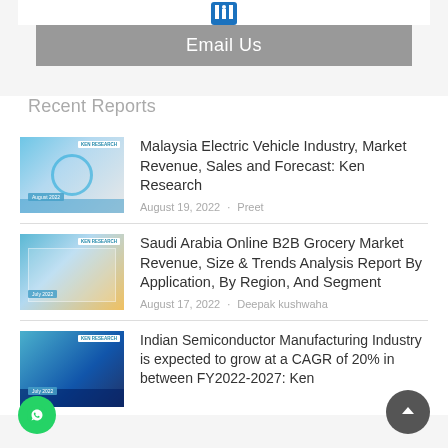[Figure (logo): LinkedIn icon in blue]
Email Us
Recent Reports
[Figure (photo): Electric vehicle charging plug close-up with blue circle light, report cover for Malaysia Electric Vehicle Industry]
Malaysia Electric Vehicle Industry, Market Revenue, Sales and Forecast: Ken Research
August 19, 2022 · Preet
[Figure (photo): Supermarket aisle with laptop showing online grocery, report cover for Saudi Arabia Online B2B Grocery Market]
Saudi Arabia Online B2B Grocery Market Revenue, Size & Trends Analysis Report By Application, By Region, And Segment
August 17, 2022 · Deepak kushwaha
[Figure (photo): Semiconductor circuit board, report cover for Indian Semiconductor Manufacturing Industry]
Indian Semiconductor Manufacturing Industry is expected to grow at a CAGR of 20% in between FY2022-2027: Ken Research